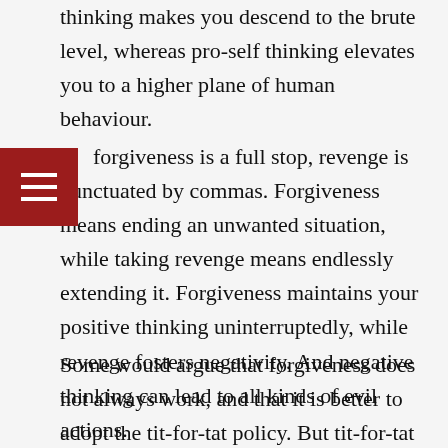thinking makes you descend to the brute level, whereas pro-self thinking elevates you to a higher plane of human behaviour.
forgiveness is a full stop, revenge is punctuated by commas. Forgiveness means ending an unwanted situation, while taking revenge means endlessly extending it. Forgiveness maintains your positive thinking uninterruptedly, while revenge fosters negativity. And negative thinking can lead to all kinds of evil actions.
Some would argue that forgiveness does not always work, and that it is better to adopt the tit-for-tat policy. But tit-for-tat is not a real solution; it does not end the problem, it only leads to a chain of continuations. Forgiveness means to end...